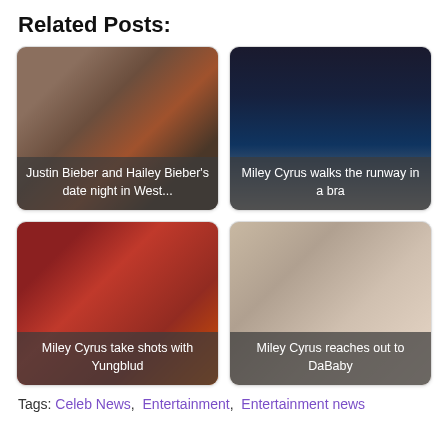Related Posts:
[Figure (photo): Justin Bieber and Hailey Bieber at night, caption: Justin Bieber and Hailey Bieber's date night in West...]
[Figure (photo): Miley Cyrus on a runway in black outfit, caption: Miley Cyrus walks the runway in a bra]
[Figure (photo): Miley Cyrus and Yungblud taking shots, caption: Miley Cyrus take shots with Yungblud]
[Figure (photo): Miley Cyrus close-up portrait, caption: Miley Cyrus reaches out to DaBaby]
Tags: Celeb News,  Entertainment,  Entertainment news